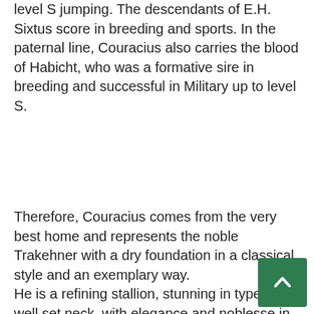level S jumping. The descendants of E.H. Sixtus score in breeding and sports. In the paternal line, Couracius also carries the blood of Habicht, who was a formative sire in breeding and successful in Military up to level S.
Therefore, Couracius comes from the very best home and represents the noble Trakehner with a dry foundation in a classical style and an exemplary way.
He is a refining stallion, stunning in type and well set neck, with elegance and noblesse in every phase of his appearance.
Couracius has been the reserve winner of his stallion license age group in Neumünster. In 2004, he passed the 30-day-examination very well. He completed his stallion performance